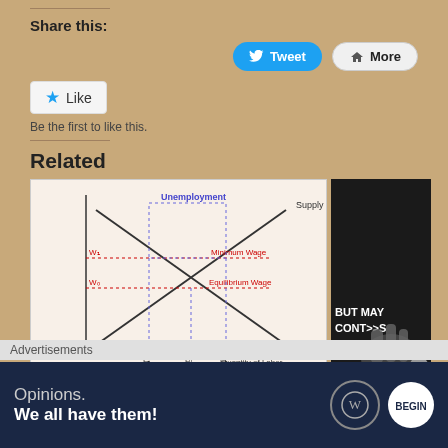Share this:
[Figure (screenshot): Tweet and More share buttons]
[Figure (screenshot): Like button widget]
Be the first to like this.
Related
[Figure (engineering-diagram): Economics supply and demand diagram showing minimum wage causing unemployment, with Supply and Demand curves crossing, wage rates W1 (Minimum Wage) and W0 (Equilibrium Wage), and quantities L2, L0, L1 on x-axis (Quantity of Labor). Unemployment region shown at top.]
Advertisements
[Figure (screenshot): Advertisement banner: Opinions. We all have them! with WordPress and another logo]